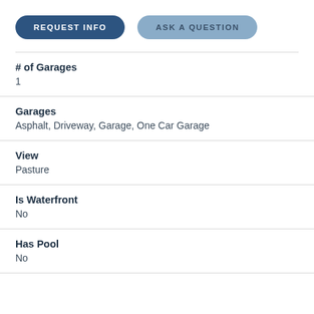[Figure (infographic): Two pill-shaped buttons: 'REQUEST INFO' (dark blue) and 'ASK A QUESTION' (light blue/grey)]
# of Garages
1
Garages
Asphalt, Driveway, Garage, One Car Garage
View
Pasture
Is Waterfront
No
Has Pool
No